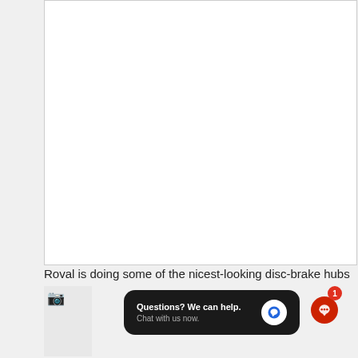[Figure (photo): Large white blank/empty image area in the upper portion of the page]
Roval is doing some of the nicest-looking disc-brake hubs
[Figure (photo): Small broken/loading image thumbnail in lower left]
[Figure (screenshot): Chat widget overlay: dark rounded rectangle with 'Questions? We can help. Chat with us now.' and a blue speech bubble icon]
[Figure (screenshot): Notification badge overlay: red circle with '1' and a red speech bubble icon on gray circle background]